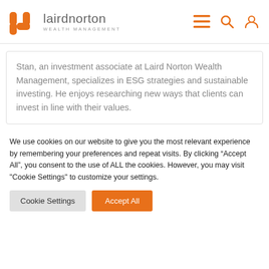[Figure (logo): Laird Norton Wealth Management logo with orange LN icon and gray text]
Stan, an investment associate at Laird Norton Wealth Management, specializes in ESG strategies and sustainable investing. He enjoys researching new ways that clients can invest in line with their values.
We use cookies on our website to give you the most relevant experience by remembering your preferences and repeat visits. By clicking “Accept All”, you consent to the use of ALL the cookies. However, you may visit "Cookie Settings" to customize your settings.